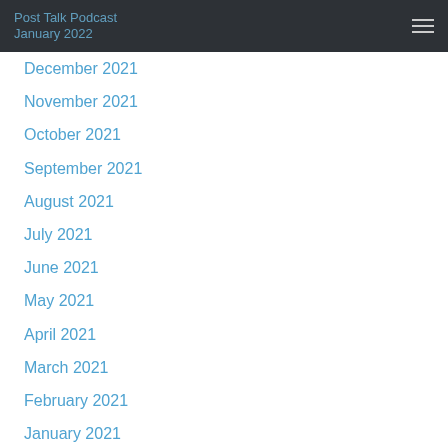January 2022
December 2021
November 2021
October 2021
September 2021
August 2021
July 2021
June 2021
May 2021
April 2021
March 2021
February 2021
January 2021
November 2020
August 2020
July 2020
June 2020
May 2020